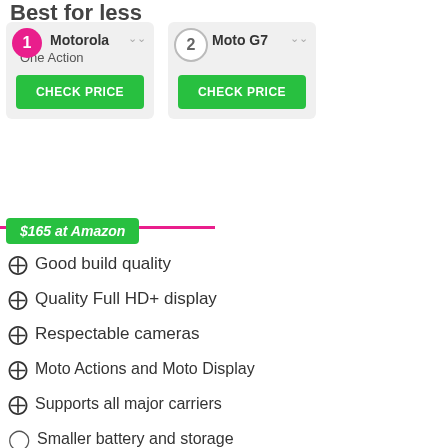Best for less
[Figure (infographic): Product comparison cards showing #1 Motorola One Action and #2 Moto G7, each with a CHECK PRICE green button]
$165 at Amazon
Good build quality
Quality Full HD+ display
Respectable cameras
Moto Actions and Moto Display
Supports all major carriers
Smaller battery and storage
Lacks an NFC chip for Google Pay
With the Motorola One Action and Moto G7, you've